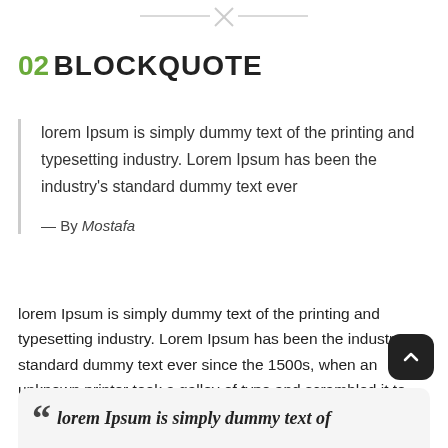[Figure (other): Top decorative navigation bar with X close icon and horizontal lines]
02 BLOCKQUOTE
lorem Ipsum is simply dummy text of the printing and typesetting industry. Lorem Ipsum has been the industry's standard dummy text ever
— By Mostafa
lorem Ipsum is simply dummy text of the printing and typesetting industry. Lorem Ipsum has been the industry's standard dummy text ever since the 1500s, when an unknown printer took a galley of type and scrambled it to make a type specimen book
lorem Ipsum is simply dummy text of